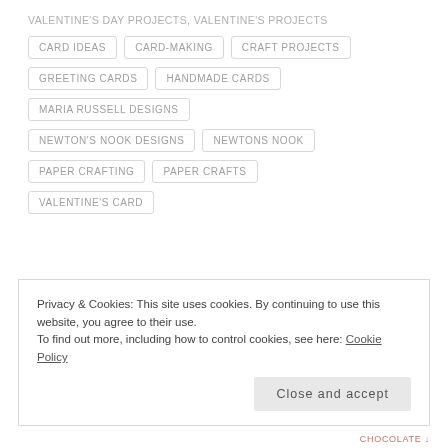VALENTINE'S DAY PROJECTS, VALENTINE'S PROJECTS
CARD IDEAS
CARD-MAKING
CRAFT PROJECTS
GREETING CARDS
HANDMADE CARDS
MARIA RUSSELL DESIGNS
NEWTON'S NOOK DESIGNS
NEWTONS NOOK
PAPER CRAFTING
PAPER CRAFTS
VALENTINE'S CARD
Privacy & Cookies: This site uses cookies. By continuing to use this website, you agree to their use. To find out more, including how to control cookies, see here: Cookie Policy
Close and accept
CHOCOLATE ↓